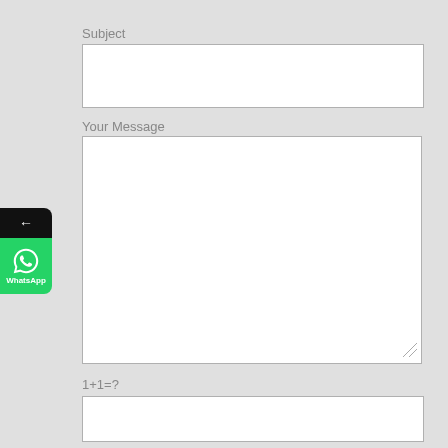Subject
[Figure (screenshot): Empty text input field for Subject]
Your Message
[Figure (screenshot): Large empty textarea for message input with resize handle]
[Figure (screenshot): WhatsApp share widget with back arrow and WhatsApp icon]
1+1=?
[Figure (screenshot): Empty text input field for CAPTCHA answer]
[Figure (screenshot): Partial submit button at bottom of page]